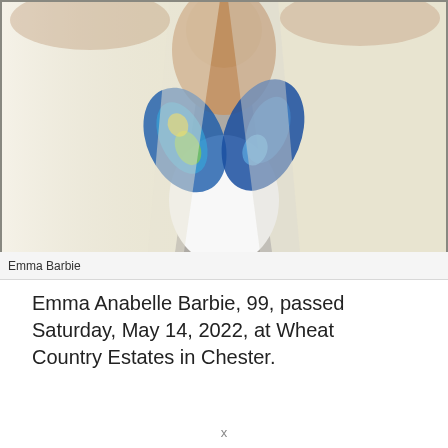[Figure (photo): Close-up photograph of an elderly woman wearing a cream/white blazer jacket and a colorful blue, green, and yellow patterned scarf or collar around her neck. The image is cropped at the shoulders and chin level.]
Emma Barbie
Emma Anabelle Barbie, 99, passed Saturday, May 14, 2022, at Wheat Country Estates in Chester.